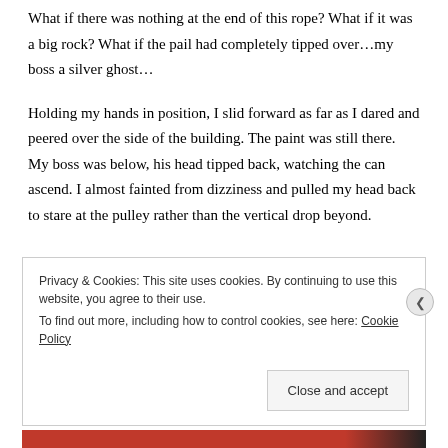What if there was nothing at the end of this rope? What if it was a big rock? What if the pail had completely tipped over…my boss a silver ghost…
Holding my hands in position, I slid forward as far as I dared and peered over the side of the building. The paint was still there. My boss was below, his head tipped back, watching the can ascend. I almost fainted from dizziness and pulled my head back to stare at the pulley rather than the vertical drop beyond.
Privacy & Cookies: This site uses cookies. By continuing to use this website, you agree to their use.
To find out more, including how to control cookies, see here: Cookie Policy
Close and accept